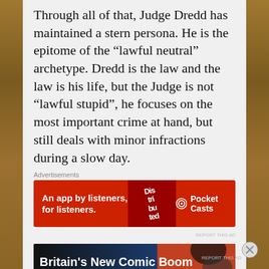Through all of that, Judge Dredd has maintained a stern persona. He is the epitome of the “lawful neutral” archetype. Dredd is the law and the law is his life, but the Judge is not “lawful stupid”, he focuses on the most important crime at hand, but still deals with minor infractions during a slow day.
Advertisements
[Figure (illustration): Pocket Casts advertisement: red banner with text 'An app by listeners, for listeners.' and a phone showing 'Distributed' app logo, with Pocket Casts branding on the right.]
REPORT THIS AD
[Figure (illustration): Article thumbnail: dark banner reading 'Britain's New Comic Boom' with a comic book character image on the right side.]
Advertisements